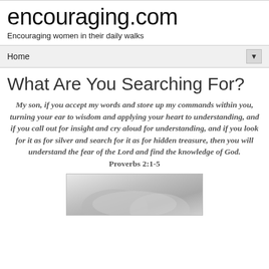encouraging.com
Encouraging women in their daily walks
Home ▼
What Are You Searching For?
My son, if you accept my words and store up my commands within you, turning your ear to wisdom and applying your heart to understanding, and if you call out for insight and cry aloud for understanding, and if you look for it as for silver and search for it as for hidden treasure, then you will understand the fear of the Lord and find the knowledge of God. Proverbs 2:1-5
[Figure (photo): Black and white photograph of hands, partially visible at bottom of page]